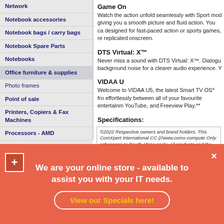Network
Notebook accessories
Notebook bags / carry bags
Notebook Spare Parts
Notebooks
Office furniture & supplies
Photo frames
Point of sale
Printers, Copiers & Fax Machines
Processors - AMD
Processors - Intel
Projectors
Refurbished products
Scanners
Screens
Security cameras
Security products
Servers
Game On
Watch the action unfold seamlessly with Sport mod giving you a smooth picture and fluid action. You ca designed for fast-paced action or sports games, re replicated onscreen.
DTS Virtual: X™
Never miss a sound with DTS Virtual: X™. Dialogu background noise for a clearer audio experience. Y
VIDAA U
Welcome to VIDAA U5, the latest Smart TV OS* fro effortlessly between all of your favourite entertainm YouTube, and Freeview Play.**
Specifications:
©2022 Respective owners and brand holders. This ComXpert International CC (//www.comx-compute Only references to South Africa apply. All products and the warranty is that of the local supplier. E&O
We are your online store - available to assist you with your IT needs.
View our Specials here!